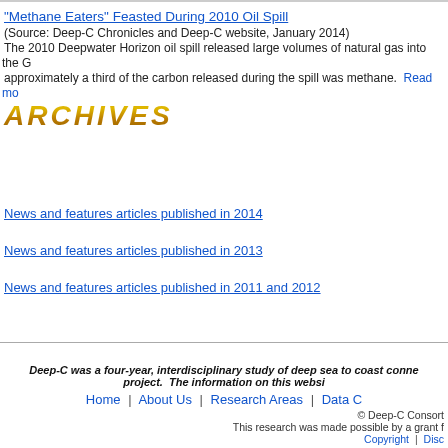"Methane Eaters" Feasted During 2010 Oil Spill
(Source: Deep-C Chronicles and Deep-C website, January 2014)
The 2010 Deepwater Horizon oil spill released large volumes of natural gas into the Gulf of Mexico, and approximately a third of the carbon released during the spill was methane.  Read more
[Figure (other): ARCHIVES text in large gold/brown italic bold font]
News and features articles published in 2014
News and features articles published in 2013
News and features articles published in 2011 and 2012
Deep-C was a four-year, interdisciplinary study of deep sea to coast connectivity project.  The information on this website
Home | About Us | Research Areas | Data C
© Deep-C Consort
This research was made possible by a grant f
Copyright | Disc